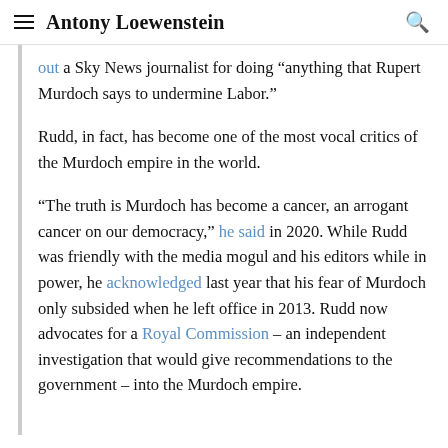Antony Loewenstein
out a Sky News journalist for doing “anything that Rupert Murdoch says to undermine Labor.”
Rudd, in fact, has become one of the most vocal critics of the Murdoch empire in the world.
“The truth is Murdoch has become a cancer, an arrogant cancer on our democracy,” he said in 2020. While Rudd was friendly with the media mogul and his editors while in power, he acknowledged last year that his fear of Murdoch only subsided when he left office in 2013. Rudd now advocates for a Royal Commission – an independent investigation that would give recommendations to the government – into the Murdoch empire.